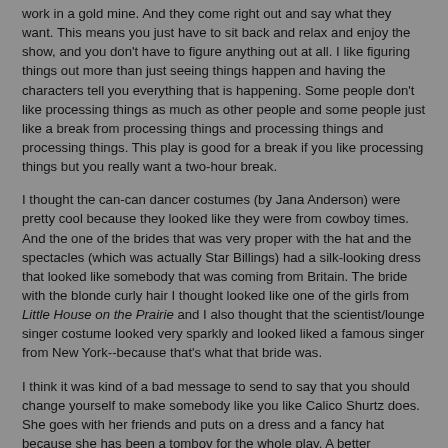work in a gold mine. And they come right out and say what they want. This means you just have to sit back and relax and enjoy the show, and you don't have to figure anything out at all. I like figuring things out more than just seeing things happen and having the characters tell you everything that is happening. Some people don't like processing things as much as other people and some people just like a break from processing things and processing things and processing things. This play is good for a break if you like processing things but you really want a two-hour break.
I thought the can-can dancer costumes (by Jana Anderson) were pretty cool because they looked like they were from cowboy times. And the one of the brides that was very proper with the hat and the spectacles (which was actually Star Billings) had a silk-looking dress that looked like somebody that was coming from Britain. The bride with the blonde curly hair I thought looked like one of the girls from Little House on the Prairie and I also thought that the scientist/lounge singer costume looked very sparkly and looked liked a famous singer from New York--because that's what that bride was.
I think it was kind of a bad message to send to say that you should change yourself to make somebody like you like Calico Shurtz does. She goes with her friends and puts on a dress and a fancy hat because she has been a tomboy for the whole play. A better message would have been to say, "Just make him like